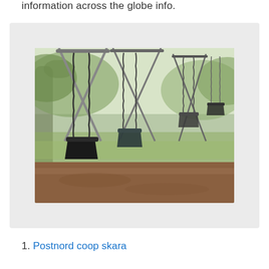information across the globe info.
[Figure (photo): A row of empty black rubber playground swings hanging from chains in a park, with blurred green trees and grass in the background, and brown dirt ground in the foreground.]
1. Postnord coop skara